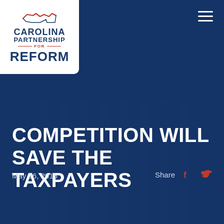[Figure (logo): Carolina Partnership for Reform logo with NC state outline in red/blue, white background box]
COMPETITION WILL SAVE THE TAXPAYERS
May 26, 2015
Share